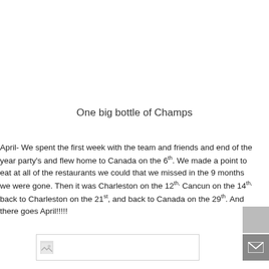One big bottle of Champs
April- We spent the first week with the team and friends and end of the year party's and flew home to Canada on the 6th. We made a point to eat at all of the restaurants we could that we missed in the 9 months we were gone. Then it was Charleston on the 12th, Cancun on the 14th, back to Charleston on the 21st, and back to Canada on the 29th. And there goes April!!!!!